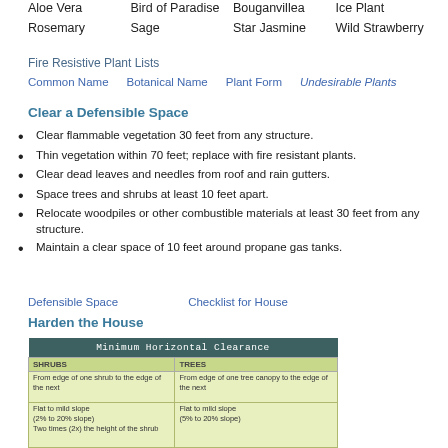Aloe Vera   Bird of Paradise   Bouganvillea   Ice Plant
Rosemary   Sage   Star Jasmine   Wild Strawberry
Fire Resistive Plant Lists
Common Name   Botanical Name   Plant Form   Undesirable Plants
Clear a Defensible Space
Clear flammable vegetation 30 feet from any structure.
Thin vegetation within 70 feet; replace with fire resistant plants.
Clear dead leaves and needles from roof and rain gutters.
Space trees and shrubs at least 10 feet apart.
Relocate woodpiles or other combustible materials at least 30 feet from any structure.
Maintain a clear space of 10 feet around propane gas tanks.
Defensible Space   Checklist for House
Harden the House
[Figure (table-as-image): Minimum Horizontal Clearance table showing SHRUBS and TREES columns with clearance spacing information for flat to mild slope (2% to 20% slope).]